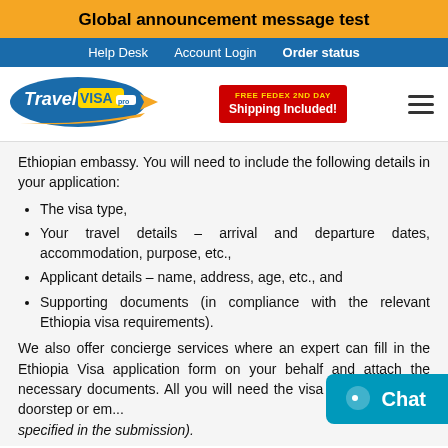Global announcement message test
Help Desk   Account Login   Order status
[Figure (logo): Travel Visa Pro logo with orange arrow and blue oval]
[Figure (infographic): FREE FEDEX 2ND DAY Shipping Included! badge in red]
Ethiopian embassy. You will need to include the following details in your application:
The visa type,
Your travel details – arrival and departure dates, accommodation, purpose, etc.,
Applicant details – name, address, age, etc., and
Supporting documents (in compliance with the relevant Ethiopia visa requirements).
We also offer concierge services where an expert can fill in the Ethiopia Visa application form on your behalf and attach the necessary documents. All you will need the visa to arrive at your doorstep or em... specified in the submission).